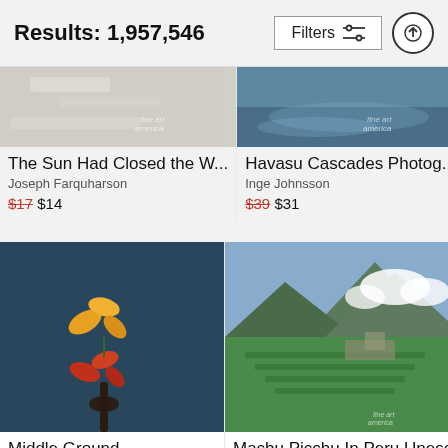Results: 1,957,546
[Figure (screenshot): Filter button with sliders icon and up-arrow circle button]
[Figure (photo): Top-left partially visible snowy/winter scene photo - The Sun Had Closed the W...]
The Sun Had Closed the W...
Joseph Farquharson
$17 $14
[Figure (photo): Top-right partially visible waterfall or cascades photo - Havasu Cascades Photog...]
Havasu Cascades Photog...
Inge Johnsson
$39 $31
[Figure (photo): Bottom-left photo of flowers being held against dark blue background - Middle Ground ...]
Middle Ground ...
Tara Turner
[Figure (photo): Bottom-right photo of Machu Picchu ruins with mountain and clouds - Machu Picchu In Peru Unesco World...]
Machu Picchu In Peru Unesco World...
Byelikova Oksana